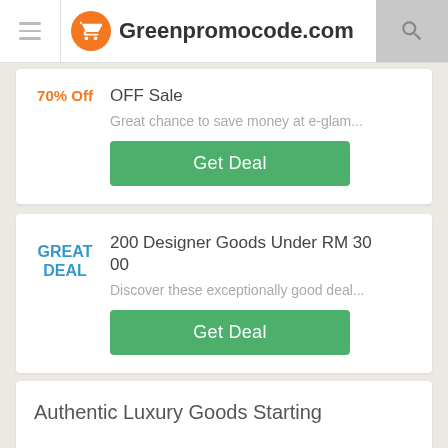Greenpromocode.com
70% Off — OFF Sale
Great chance to save money at e-glam...
Get Deal
GREAT DEAL — 200 Designer Goods Under RM 3000
Discover these exceptionally good deal...
Get Deal
Authentic Luxury Goods Starting